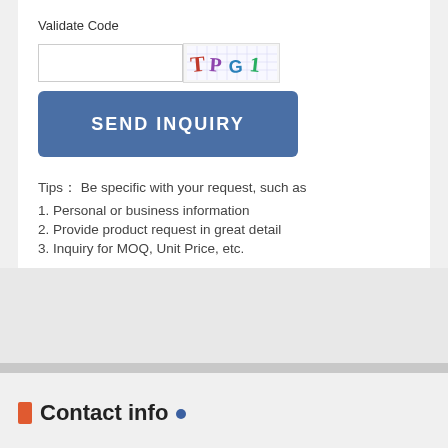Validate Code
[Figure (screenshot): CAPTCHA input field with text box and CAPTCHA image showing 'TP G1']
SEND INQUIRY
Tips： Be specific with your request, such as
1. Personal or business information
2. Provide product request in great detail
3. Inquiry for MOQ, Unit Price, etc.
Contact info